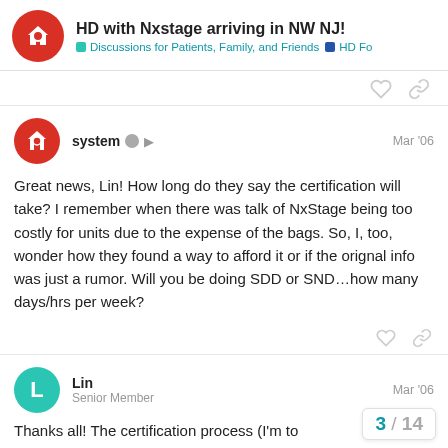HD with Nxstage arriving in NW NJ! | Discussions for Patients, Family, and Friends | HD Fo
system  Mar '06
Great news, Lin! How long do they say the certification will take? I remember when there was talk of NxStage being too costly for units due to the expense of the bags. So, I, too, wonder how they found a way to afford it or if the orignal info was just a rumor. Will you be doing SDD or SND…how many days/hrs per week?
Lin  Senior Member  Mar '06
Thanks all! The certification process (I'm to